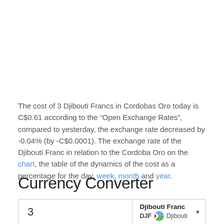The cost of 3 Djibouti Francs in Cordobas Oro today is C$0.61 according to the “Open Exchange Rates”, compared to yesterday, the exchange rate decreased by -0.04% (by -C$0.0001). The exchange rate of the Djibouti Franc in relation to the Cordoba Oro on the chart, the table of the dynamics of the cost as a percentage for the day, week, month and year.
Currency Converter
| Amount | Currency |
| --- | --- |
| 3 | Djibouti Franc DJF Djibouti |